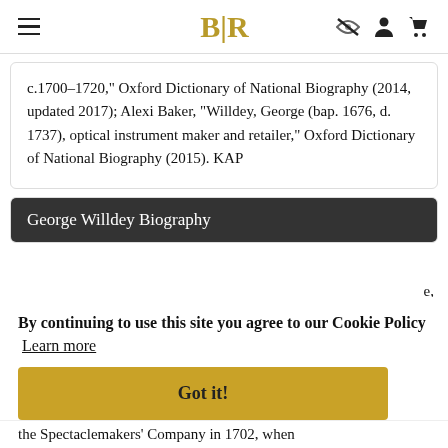BLR
c.1700–1720," Oxford Dictionary of National Biography (2014, updated 2017); Alexi Baker, "Willdey, George (bap. 1676, d. 1737), optical instrument maker and retailer," Oxford Dictionary of National Biography (2015). KAP
George Willdey Biography
By continuing to use this site you agree to our Cookie Policy  Learn more
Got it!
the Spectaclemakers' Company in 1702, when